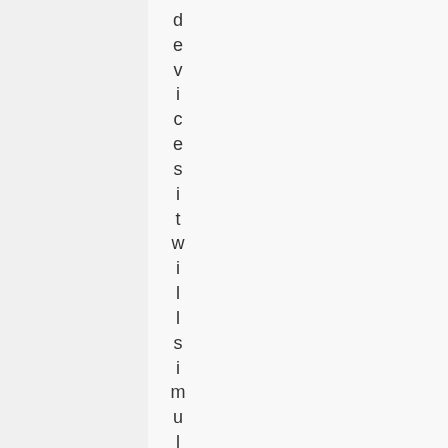devices it will simultaneously